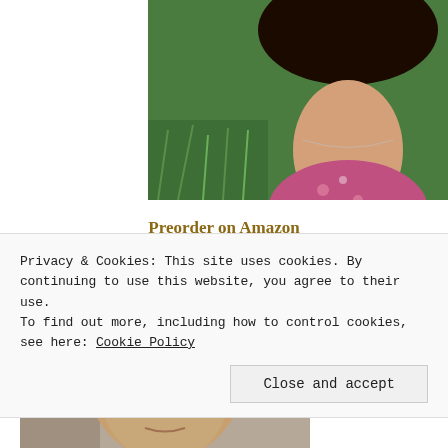[Figure (photo): Partial photo of a woman with dark hair, pink floral top, necklace, outdoors with green grass background. Only lower face and shoulders visible.]
Preorder on Amazon
[Figure (photo): Headshot of Cindy Rizzo, an older woman with short light gray-brown hair, glasses, against a beige wall background.]
Cindy Rizzo is the author of three novels, Getting Back (2015, Ylva
Privacy & Cookies: This site uses cookies. By continuing to use this website, you agree to their use.
To find out more, including how to control cookies, see here: Cookie Policy
Close and accept